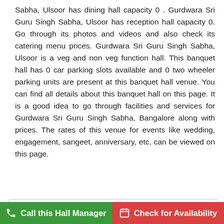Sabha, Ulsoor has dining hall capacity 0 . Gurdwara Sri Guru Singh Sabha, Ulsoor has reception hall capacity 0. Go through its photos and videos and also check its catering menu prices. Gurdwara Sri Guru Singh Sabha, Ulsoor is a veg and non veg function hall. This banquet hall has 0 car parking slots available and 0 two wheeler parking units are present at this banquet hall venue. You can find all details about this banquet hall on this page. It is a good idea to go through facilities and services for Gurdwara Sri Guru Singh Sabha, Bangalore along with prices. The rates of this venue for events like wedding, engagement, sangeet, anniversary, etc, can be viewed on this page.
Gurdwara Sri Guru Singh Sabha, [partially visible] rooms at this reception hall for the guests. This banquet has 0 non airconditioned rooms at this venue for guests.
5  people enquired for this hall today
Call this Hall Manager
Check for Availability